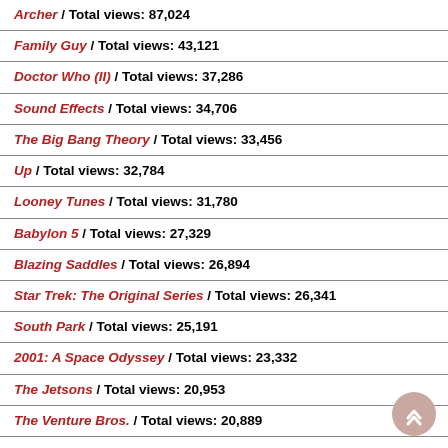Archer / Total views: 87,024
Family Guy / Total views: 43,121
Doctor Who (II) / Total views: 37,286
Sound Effects / Total views: 34,706
The Big Bang Theory / Total views: 33,456
Up / Total views: 32,784
Looney Tunes / Total views: 31,780
Babylon 5 / Total views: 27,329
Blazing Saddles / Total views: 26,894
Star Trek: The Original Series / Total views: 26,341
South Park / Total views: 25,191
2001: A Space Odyssey / Total views: 23,332
The Jetsons / Total views: 20,953
The Venture Bros. / Total views: 20,889